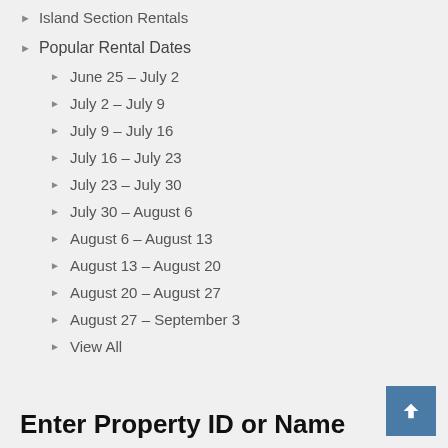Island Section Rentals
Popular Rental Dates
June 25 – July 2
July 2 – July 9
July 9 – July 16
July 16 – July 23
July 23 – July 30
July 30 – August 6
August 6 – August 13
August 13 – August 20
August 20 – August 27
August 27 – September 3
View All
Enter Property ID or Name